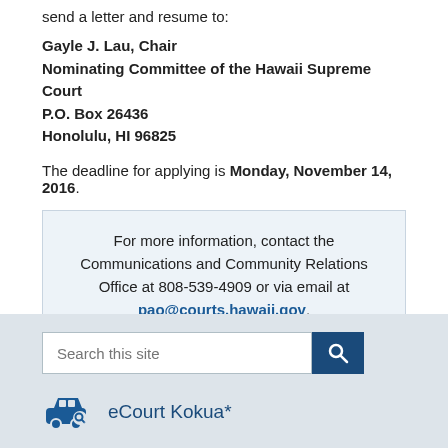send a letter and resume to:
Gayle J. Lau, Chair
Nominating Committee of the Hawaii Supreme Court
P.O. Box 26436
Honolulu, HI 96825
The deadline for applying is Monday, November 14, 2016.
For more information, contact the Communications and Community Relations Office at 808-539-4909 or via email at pao@courts.hawaii.gov.

Subscribe to the Hawai'i State Judiciary mailing list for email notification of press releases and other announcements.
Search this site
eCourt Kokua*